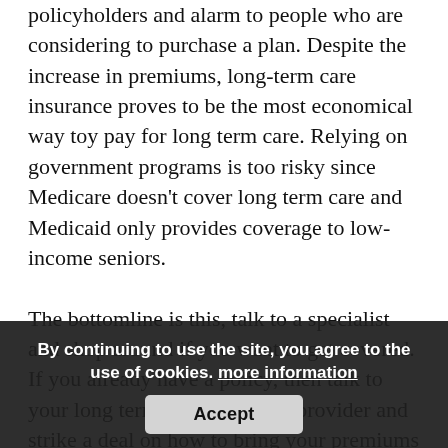policyholders and alarm to people who are considering to purchase a plan. Despite the increase in premiums, long-term care insurance proves to be the most economical way toy pay for long term care. Relying on government programs is too risky since Medicare doesn't cover long term care and Medicaid only provides coverage to low-income seniors.

The bottomline is this, talk to a specialist and shop around if you want to get covered. If you already have a policy, then talk to your long term care insurance provider and strike a deal on how to bring your premiums down. There are actualy variety of options to help you brave these premium hikes. Lowering your daily benefit amount is one, another is decreasing your benefit
By continuing to use the site, you agree to the use of cookies. more information
Accept